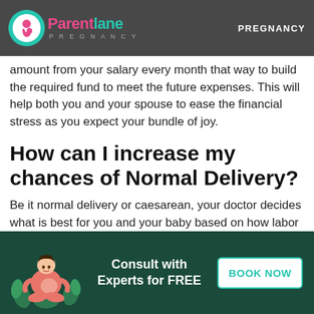Parentlane PREGNANCY | PREGNANCY
amount from your salary every month that way to build the required fund to meet the future expenses. This will help both you and your spouse to ease the financial stress as you expect your bundle of joy.
How can I increase my chances of Normal Delivery?
Be it normal delivery or caesarean, your doctor decides what is best for you and your baby based on how labor progresses. However, you can increase your chances of normal delivery which will help you to recover quickly after delivery by following certain routines and
[Figure (illustration): Bottom banner with a pregnant woman in meditation pose surrounded by plants, teal/dark green background, 'Consult with Experts for FREE' text and BOOK NOW button]
Consult with Experts for FREE
BOOK NOW